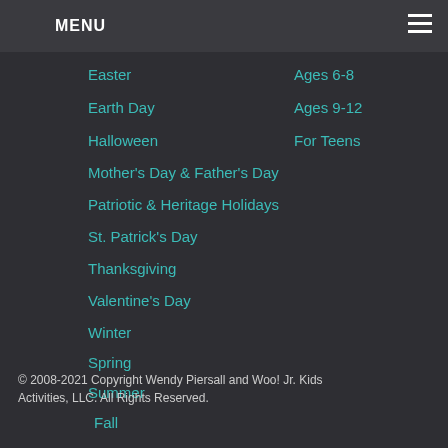MENU
Easter
Ages 6-8
Earth Day
Ages 9-12
Halloween
For Teens
Mother's Day & Father's Day
Patriotic & Heritage Holidays
St. Patrick's Day
Thanksgiving
Valentine's Day
Winter
Spring
Summer
Fall
News
© 2008-2021 Copyright Wendy Piersall and Woo! Jr. Kids Activities, LLC. All Rights Reserved.